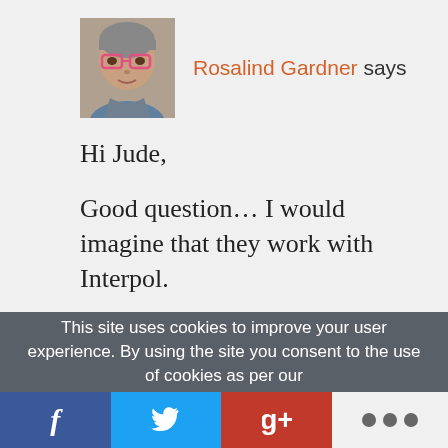[Figure (photo): Profile photo of Rosalind Gardner, a woman with glasses]
Rosalind Gardner says
Hi Jude,

Good question… I would imagine that they work with Interpol.

Cheers,
Ros
This site uses cookies to improve your user experience. By using the site you consent to the use of cookies as per our